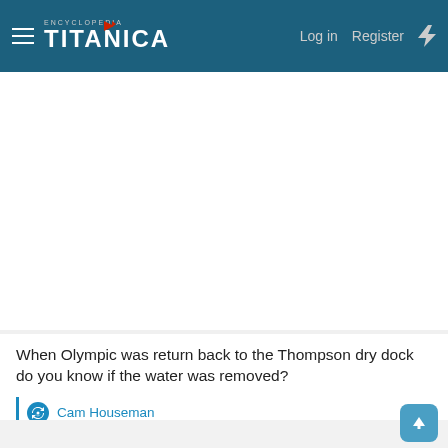Encyclopedia Titanica — Log in  Register
When Olympic was return back to the Thompson dry dock do you know if the water was removed?
Cam Houseman
Thomas Krom
Member